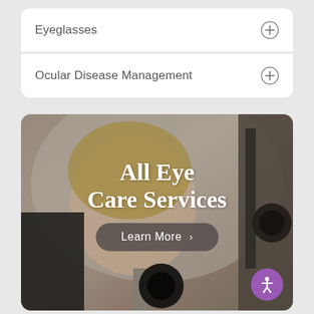Eyeglasses
Ocular Disease Management
[Figure (photo): A smiling woman with blonde hair at an eye examination machine (slit lamp), overlaid with text 'All Eye Care Services' and a 'Learn More >' button]
All Eye Care Services
Learn More >